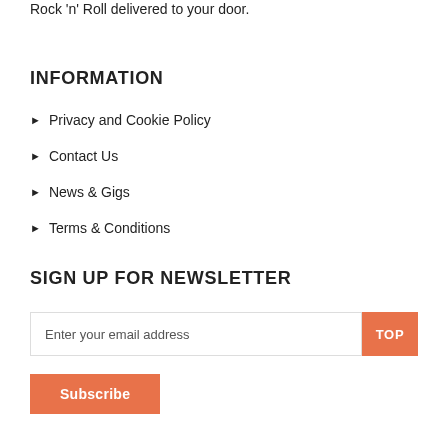Rock 'n' Roll delivered to your door.
INFORMATION
Privacy and Cookie Policy
Contact Us
News & Gigs
Terms & Conditions
SIGN UP FOR NEWSLETTER
Enter your email address
TOP
Subscribe